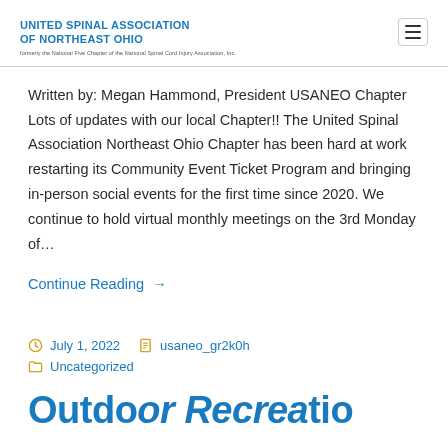UNITED SPINAL ASSOCIATION OF NORTHEAST OHIO
Written by: Megan Hammond, President USANEO Chapter Lots of updates with our local Chapter!! The United Spinal Association Northeast Ohio Chapter has been hard at work restarting its Community Event Ticket Program and bringing in-person social events for the first time since 2020. We continue to hold virtual monthly meetings on the 3rd Monday of…
Continue Reading →
July 1, 2022   usaneo_gr2k0h   Uncategorized
Outdo... Recre...